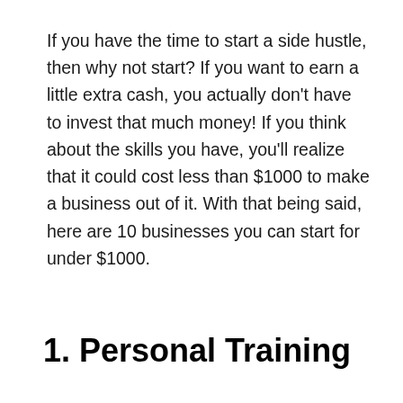If you have the time to start a side hustle, then why not start? If you want to earn a little extra cash, you actually don't have to invest that much money! If you think about the skills you have, you'll realize that it could cost less than $1000 to make a business out of it. With that being said, here are 10 businesses you can start for under $1000.
1. Personal Training